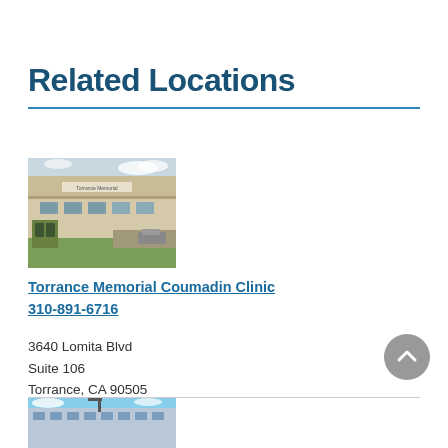Related Locations
[Figure (photo): Exterior photo of Torrance Memorial Coumadin Clinic building — tan/beige modern medical building with green shrubs]
Torrance Memorial Coumadin Clinic
310-891-6716
3640 Lomita Blvd
Suite 106
Torrance, CA 90505
[Figure (photo): Partial exterior photo of another related location building, blue sky visible]